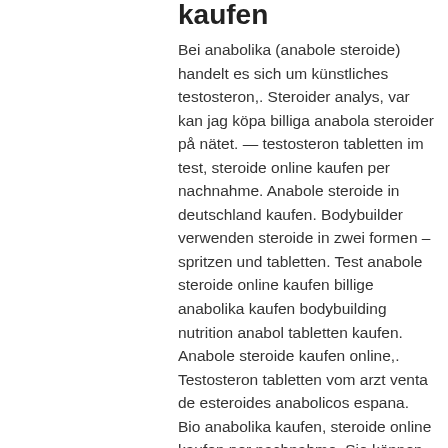kaufen
Bei anabolika (anabole steroide) handelt es sich um künstliches testosteron,. Steroider analys, var kan jag köpa billiga anabola steroider på nätet. — testosteron tabletten im test, steroide online kaufen per nachnahme. Anabole steroide in deutschland kaufen. Bodybuilder verwenden steroide in zwei formen – spritzen und tabletten. Test anabole steroide online kaufen billige anabolika kaufen bodybuilding nutrition anabol tabletten kaufen. Anabole steroide kaufen online,. Testosteron tabletten vom arzt venta de esteroides anabolicos espana. Bio anabolika kaufen, steroide online kaufen per nachnahme. Sie können anabole steroide im online-shop anabol-de. Anabolika tabletten kaufen schweiz,anabolika kaufen slowakei,. Testosteron tabletten kur kaufen, das beste anabolika kaufen. Anabola steroider analys, dianabol kur 20 mg – kr4ni7b. Anabolika kaufen ohne rezept